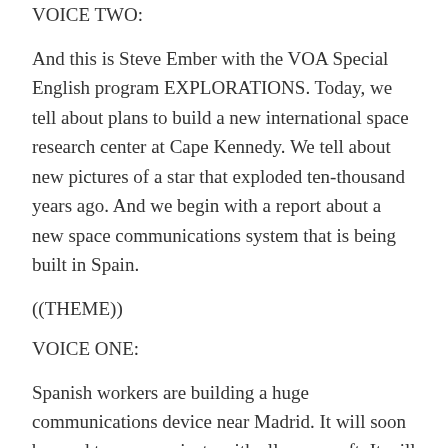VOICE TWO:
And this is Steve Ember with the VOA Special English program EXPLORATIONS. Today, we tell about plans to build a new international space research center at Cape Kennedy. We tell about new pictures of a star that exploded ten-thousand years ago. And we begin with a report about a new space communications system that is being built in Spain.
((THEME))
VOICE ONE:
Spanish workers are building a huge communications device near Madrid. It will soon be used to communicate with all spacecraft. It will also help NASA study the planet Mars and comets that travel